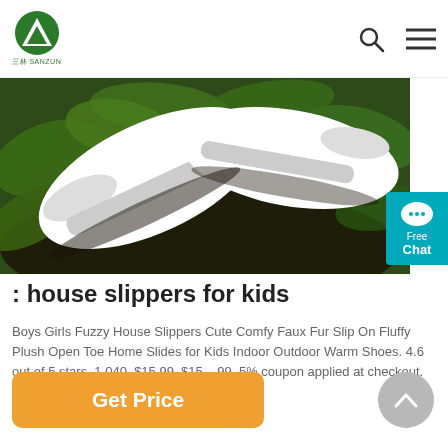SANZUN
[Figure (photo): White house slippers/slides placed on green leaves and dark soil background]
: house slippers for kids
Boys Girls Fuzzy House Slippers Cute Comfy Faux Fur Slip On Fluffy Plush Open Toe Home Slides for Kids Indoor Outdoor Warm Shoes. 4.6 out of 5 stars. 1,040. $15.99. $15. . 99. 5% coupon applied at checkout. Save 5% with coupon (some sizes/colors)
Get Price